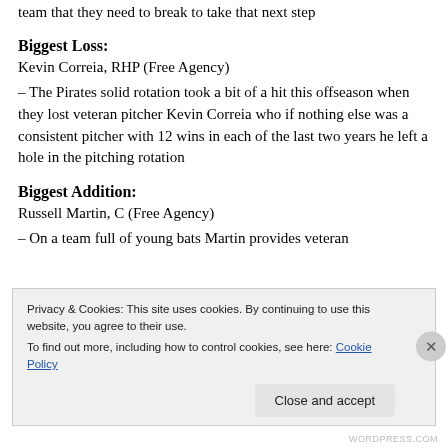team that they need to break to take that next step
Biggest Loss:
Kevin Correia, RHP (Free Agency)
– The Pirates solid rotation took a bit of a hit this offseason when they lost veteran pitcher Kevin Correia who if nothing else was a consistent pitcher with 12 wins in each of the last two years he left a hole in the pitching rotation
Biggest Addition:
Russell Martin, C (Free Agency)
– On a team full of young bats Martin provides veteran
Privacy & Cookies: This site uses cookies. By continuing to use this website, you agree to their use.
To find out more, including how to control cookies, see here: Cookie Policy
WORDPRESS.COM